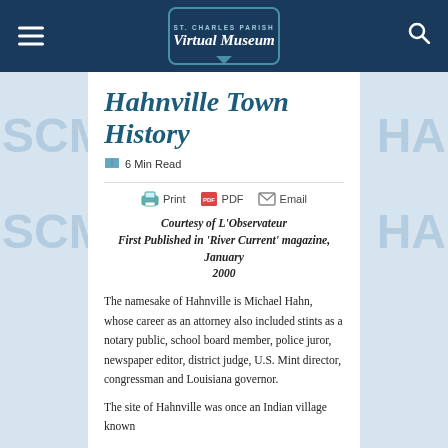ST. CHARLES PARISH Virtual Museum
Hahnville Town History
6 Min Read
Print  PDF  Email
Courtesy of L’Observateur
First Published in ‘River Current’ magazine, January 2000
The namesake of Hahnville is Michael Hahn, whose career as an attorney also included stints as a notary public, school board member, police juror, newspaper editor, district judge, U.S. Mint director, congressman and Louisiana governor.
The site of Hahnville was once an Indian village known